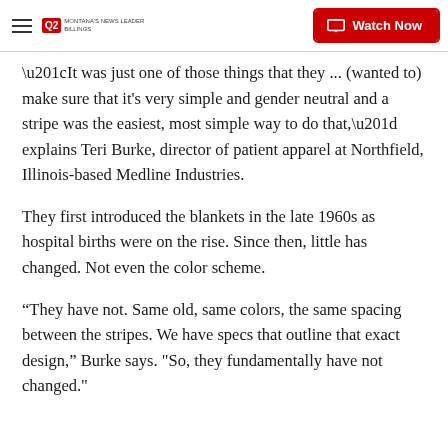Q2 Montana's News Leader Billings | Watch Now
“It was just one of those things that they ... (wanted to) make sure that it's very simple and gender neutral and a stripe was the easiest, most simple way to do that,” explains Teri Burke, director of patient apparel at Northfield, Illinois-based Medline Industries.
They first introduced the blankets in the late 1960s as hospital births were on the rise. Since then, little has changed. Not even the color scheme.
“They have not. Same old, same colors, the same spacing between the stripes. We have specs that outline that exact design,” Burke says. "So, they fundamentally have not changed."